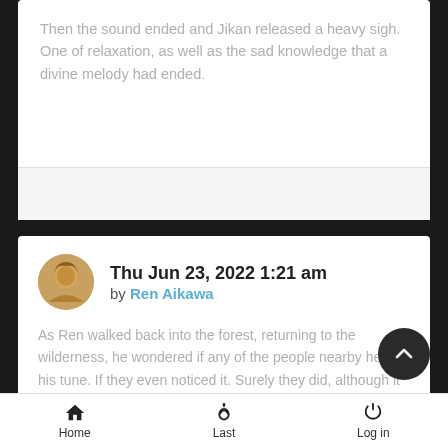Then the sound ended and Jikan released a heavy sigh. One of relaxation, as well as the sad knowledge that a divine melody had ended.
Thu Jun 23, 2022 1:21 am by Ren Aikawa
As Ren walked back into the forest, returning to the wilderness, he wondered if any of the people nearby heard his tune. If they even noticed it. Surely they did, although it blended with nature, the pitch was not known to occur naturally. He hoped that whoever had heard his tune felt a momentary peace in their life of stress and work.
Home  Last  Log in